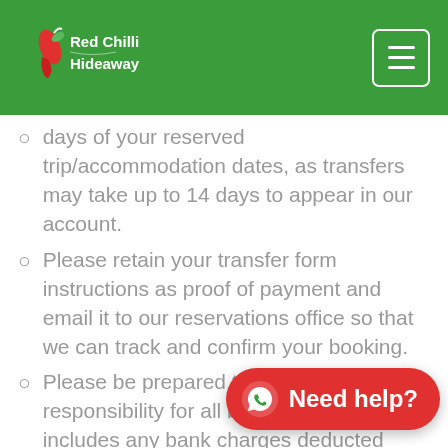Red Chilli Hideaway
days of your reserved trip/accommodation dates, as transfers may take up to 14 days to appear in our account.
Please retain your transfer form instructions as proof of payment and email it to our reservations office so that we can track and confirm your booking.
Please be prepared to accept responsibility for all bank charges. This includes any bank charges deducted beyond any estimates provided by... event, we will contact you and let ...